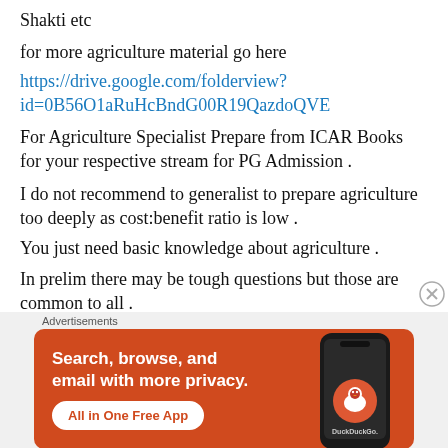Shakti etc
for more agriculture material go here
https://drive.google.com/folderview?id=0B56O1aRuHcBndG00R19QazdoQVE
For Agriculture Specialist Prepare from ICAR Books for your respective stream for PG Admission .
I do not recommend to generalist to prepare agriculture too deeply as cost:benefit ratio is low .
You just need basic knowledge about agriculture .
In prelim there may be tough questions but those are common to all .
[Figure (infographic): DuckDuckGo advertisement banner with orange background. Text reads: Search, browse, and email with more privacy. All in One Free App. Shows a phone with DuckDuckGo logo.]